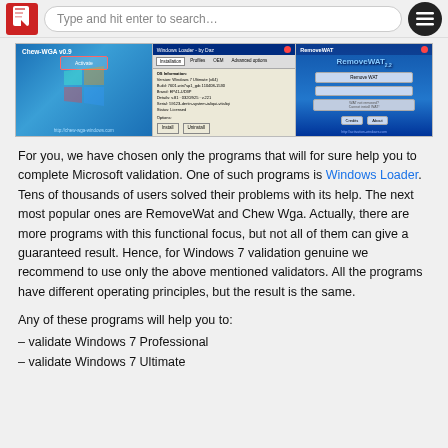Type and hit enter to search…
[Figure (screenshot): Three side-by-side screenshots: Chew-WGA v0.9 activation tool, Windows Loader installation dialog, and RemoveWAT tool interface.]
For you, we have chosen only the programs that will for sure help you to complete Microsoft validation. One of such programs is Windows Loader. Tens of thousands of users solved their problems with its help. The next most popular ones are RemoveWat and Chew Wga. Actually, there are more programs with this functional focus, but not all of them can give a guaranteed result. Hence, for Windows 7 validation genuine we recommend to use only the above mentioned validators. All the programs have different operating principles, but the result is the same.
Any of these programs will help you to:
– validate Windows 7 Professional
– validate Windows 7 Ultimate